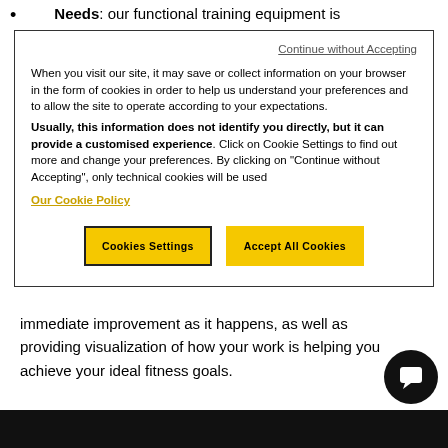Needs: our functional training equipment is
Continue without Accepting
When you visit our site, it may save or collect information on your browser in the form of cookies in order to help us understand your preferences and to allow the site to operate according to your expectations. Usually, this information does not identify you directly, but it can provide a customised experience. Click on Cookie Settings to find out more and change your preferences. By clicking on "Continue without Accepting", only technical cookies will be used
Our Cookie Policy
Cookies Settings | Accept All Cookies
immediate improvement as it happens, as well as providing visualization of how your work is helping you achieve your ideal fitness goals.